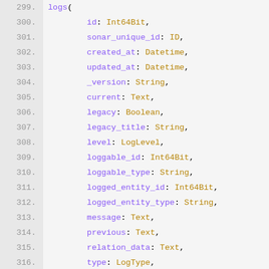Code listing lines 299-317: GraphQL schema field definitions for logs query including id, sonar_unique_id, created_at, updated_at, _version, current, legacy, legacy_title, level, loggable_id, loggable_type, logged_entity_id, logged_entity_type, message, previous, relation_data, type, user_id